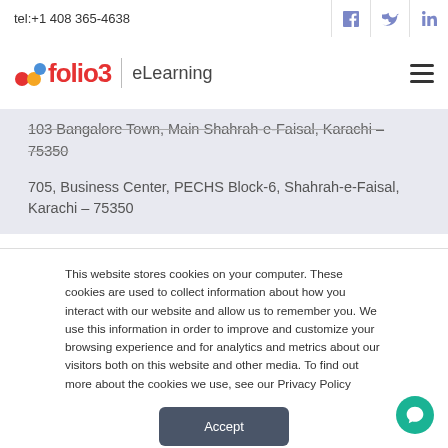tel:+1 408 365-4638
[Figure (logo): folio3 eLearning logo with colored circles and text]
103 Bangalore Town, Main Shahrah-e-Faisal, Karachi – 75350
705, Business Center, PECHS Block-6, Shahrah-e-Faisal, Karachi – 75350
This website stores cookies on your computer. These cookies are used to collect information about how you interact with our website and allow us to remember you. We use this information in order to improve and customize your browsing experience and for analytics and metrics about our visitors both on this website and other media. To find out more about the cookies we use, see our Privacy Policy